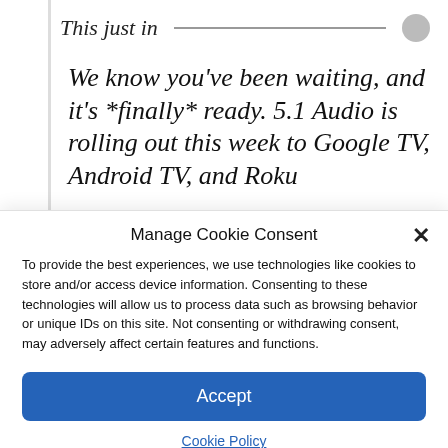This just in
We know you've been waiting, and it's *finally* ready. 5.1 Audio is rolling out this week to Google TV, Android TV, and Roku
Manage Cookie Consent
To provide the best experiences, we use technologies like cookies to store and/or access device information. Consenting to these technologies will allow us to process data such as browsing behavior or unique IDs on this site. Not consenting or withdrawing consent, may adversely affect certain features and functions.
Accept
Cookie Policy